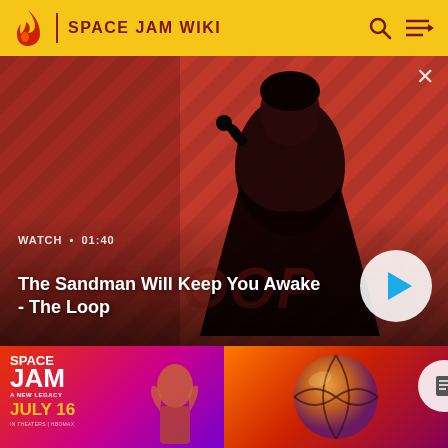SPACE JAM WIKI
[Figure (screenshot): Video thumbnail showing a dark-clad figure with a raven on their shoulder against a red diagonal-striped background. Title text reads 'The Sandman Will Keep You Awake - The Loop' with a play button and WATCH • 01:40 label.]
[Figure (photo): Space Jam: A New Legacy movie promotional image showing animated character with text 'SPACE JAM A NEW LEGACY JULY 16 IN THEATERS | HBOMAX']
[Figure (illustration): Basketball icon on gradient orange-red-purple background]